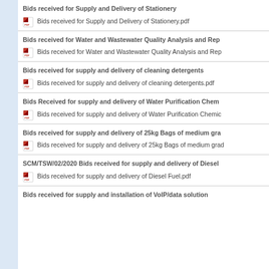Bids received for Supply and Delivery of Stationery
Bids received for Supply and Delivery of Stationery.pdf
Bids received for Water and Wastewater Quality Analysis and Rep
Bids received for Water and Wastewater Quality Analysis and Rep
Bids received for supply and delivery of cleaning detergents
Bids received for supply and delivery of cleaning detergents.pdf
Bids Received for supply and delivery of Water Purification Chem
Bids received for supply and delivery of Water Purification Chemic
Bids received for supply and delivery of 25kg Bags of medium gra
Bids received for supply and delivery of 25kg Bags of medium grad
SCM/TSW/02/2020 Bids received for supply and delivery of Diesel
Bids received for supply and delivery of Diesel Fuel.pdf
Bids received for supply and installation of VoIP/data solution